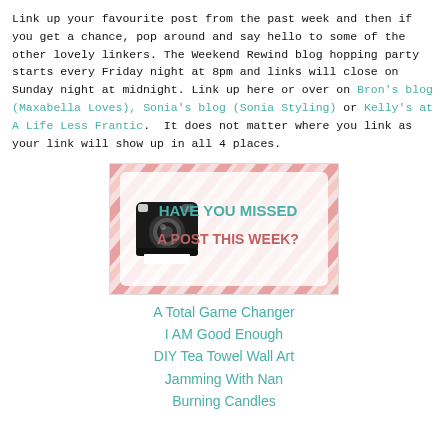Link up your favourite post from the past week and then if you get a chance, pop around and say hello to some of the other lovely linkers. The Weekend Rewind blog hopping party starts every Friday night at 8pm and links will close on Sunday night at midnight. Link up here or over on Bron's blog (Maxabella Loves), Sonia's blog (Sonia Styling) or Kelly's at A Life Less Frantic. It does not matter where you link as your link will show up in all 4 places.
[Figure (illustration): Banner image with diagonal pink and salmon stripes, a Polaroid camera illustration on the left, and text reading 'HAVE YOU MISSED A POST THIS WEEK?' in teal/coral letters on the right.]
A Total Game Changer
I AM Good Enough
DIY Tea Towel Wall Art
Jamming With Nan
Burning Candles